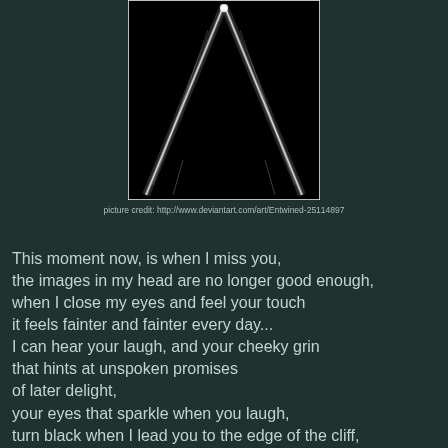[Figure (photo): Black background photo showing two crossed metallic or glass rods/needles forming an X or triangular shape with light reflections, framed by a thin white border.]
picture credit: http://www.deviantart.com/art/Entwined-25114897
This moment now, is when I miss you,
the images in my head are no longer good enough,
when I close my eyes and feel your touch
it feels fainter and fainter every day...
I can hear your laugh, and your cheeky grin
that hints at unspoken promises
of later delight,
your eyes that sparkle when you laugh,
turn black when I lead you to the edge of the cliff,
your thighs that stand strong